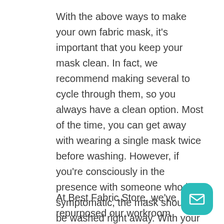With the above ways to make your own fabric mask, it's important that you keep your mask clean. In fact, we recommend making several to cycle through them, so you always have a clean option. Most of the time, you can get away with wearing a single mask twice before washing. However, if you're consciously in the presence with someone who is symptomatic, the mask should be washed right away. With your mask on, try to not touch it, since you'll be touching grocery items, the gas pump, or whatever else. When home, remove the fabric mask from the back to the front to keep germs off the mask portion.
At Best Fabric Store, we've repurposed our workroom facilities so that volunteers can make
[Figure (other): Teal rounded square button with a white email/envelope icon]